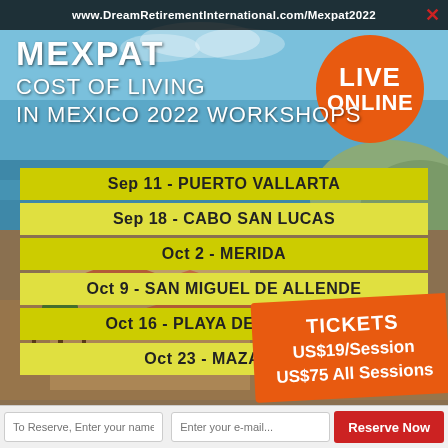www.DreamRetirementInternational.com/Mexpat2022
[Figure (photo): Scenic coastal/resort background photo showing blue sky, ocean, buildings with terracotta roofs, and palm trees in Mexico]
MEXPAT COST OF LIVING IN MEXICO 2022 WORKSHOPS
LIVE ONLINE
Sep 11 - PUERTO VALLARTA
Sep 18 - CABO SAN LUCAS
Oct 2 - MERIDA
Oct 9 - SAN MIGUEL DE ALLENDE
Oct 16 - PLAYA DEL CARMEN
Oct 23 - MAZATLAN
TICKETS
US$19/Session
US$75 All Sessions
To Reserve, Enter your name...
Enter your e-mail...
Reserve Now